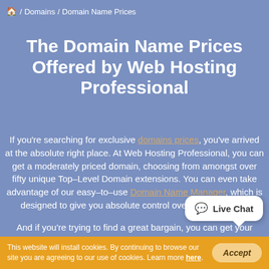🏠 / Domains / Domain Name Prices
The Domain Name Prices Offered by Web Hosting Professional
If you're searching for exclusive domains prices, you've arrived at the absolute right place. At Web Hosting Professional, you can get a moderately priced domain, choosing from amongst over fifty unique Top–Level Domain extensions. You can even take advantage of our easy–to–use Domain Name Manager, which is designed to give you absolute control over your domains.
And if you're trying to find a great bargain, you can get your domain free of cost with any of our shared hosting plans.
[Figure (other): Live Chat button bubble overlay in bottom-right area]
This website will install cookies. By continuing to browse our site you are agreeing to our use of cookies. Learn more here.